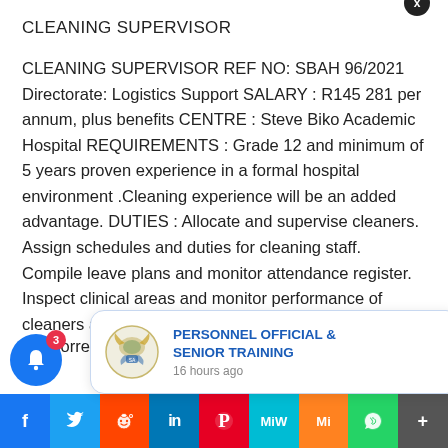CLEANING SUPERVISOR
CLEANING SUPERVISOR REF NO: SBAH 96/2021 Directorate: Logistics Support SALARY : R145 281 per annum, plus benefits CENTRE : Steve Biko Academic Hospital REQUIREMENTS : Grade 12 and minimum of 5 years proven experience in a formal hospital environment .Cleaning experience will be an added advantage. DUTIES : Allocate and supervise cleaners. Assign schedules and duties for cleaning staff. Compile leave plans and monitor attendance register. Inspect clinical areas and monitor performance of cleaners and ensure clea... ow corre...
[Figure (screenshot): Popup notification showing South Africa government coat of arms logo and text: PERSONNEL OFFICIAL & SENIOR TRAINING, 16 hours ago]
[Figure (infographic): Bottom social sharing bar with icons: Facebook, Twitter, Reddit, LinkedIn, Pinterest, MeWe, Mix, WhatsApp, More]